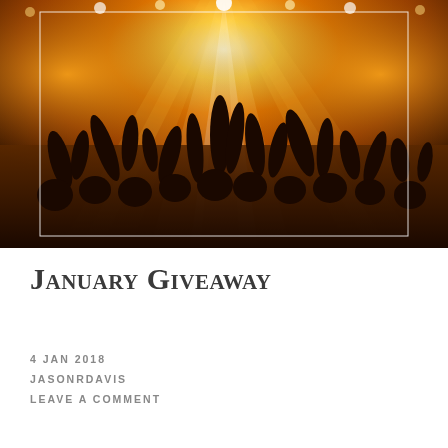[Figure (photo): Concert crowd with hands raised, bright orange and yellow stage lights illuminating the crowd from behind, dramatic lighting effect with beams of light, white thin border overlay on the photo]
January Giveaway
4 Jan 2018
Jasonrdavis
Leave a Comment